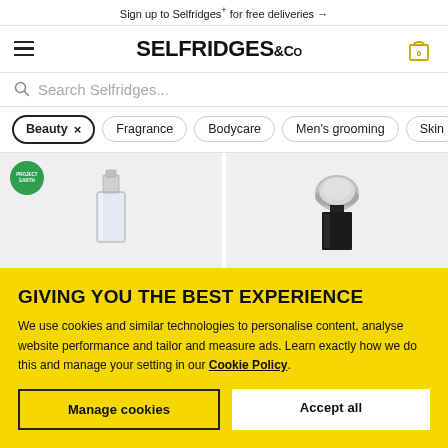Sign up to Selfridges+ for free deliveries →
[Figure (screenshot): Selfridges & Co logo with hamburger menu icon on left and shopping cart icon with 0 badge on right]
Search Selfridges...
Beauty ×
Fragrance
Bodycare
Men's grooming
Skin
[Figure (photo): Two fragrance/beauty product images on grey background. Left product has Project Earth badge, shows a clear/glass bottle. Right product shows a black bottle with silver dome cap.]
GIVING YOU THE BEST EXPERIENCE
We use cookies and similar technologies to personalise content, analyse website performance and tailor and measure ads. Learn exactly how we do this and manage your setting in our Cookie Policy.
Manage cookies
Accept all